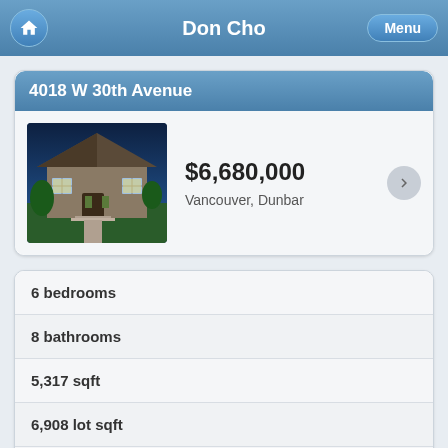Don Cho
4018 W 30th Avenue
$6,680,000
Vancouver, Dunbar
6 bedrooms
8 bathrooms
5,317 sqft
6,908 lot sqft
built in 2015
$24,565 taxes in 2022
House